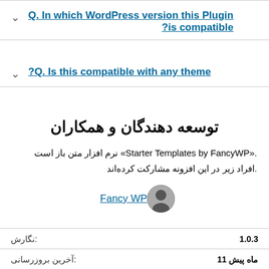Q. In which WordPress version this Plugin is compatible?
Q. Is this compatible with any theme?
توسعه دهندگان و همکاران
"Starter Templates by FancyWP" نرم افزار متن باز است. افراد زیر در این افزونه مشارکت کرده‌اند.
Fancy WP
نگارش: 1.0.3
آخرین بروزرسانی: 11 ماه پیش